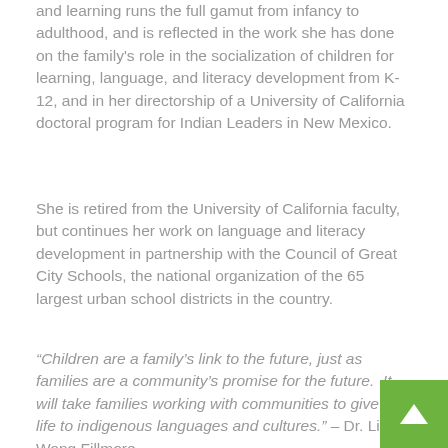and learning runs the full gamut from infancy to adulthood, and is reflected in the work she has done on the family's role in the socialization of children for learning, language, and literacy development from K-12, and in her directorship of a University of California doctoral program for Indian Leaders in New Mexico.
She is retired from the University of California faculty, but continues her work on language and literacy development in partnership with the Council of Great City Schools, the national organization of the 65 largest urban school districts in the country.
“Children are a family’s link to the future, just as families are a community’s promise for the future.  It will take families working with communities to give new life to indigenous languages and cultures.” – Dr. Lily Wong Fillmore